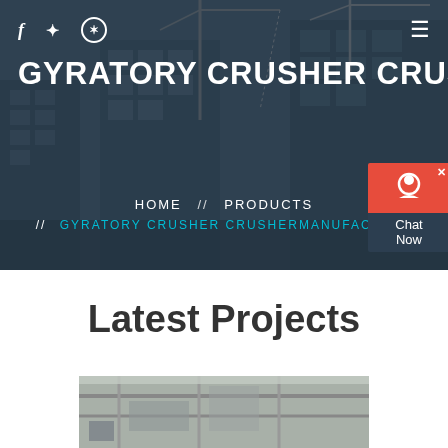[Figure (photo): Hero background showing construction site with cranes and tall buildings under construction, dark blue overlay]
f  🐦  ⊕   ≡
GYRATORY CRUSHER CRUSHERM
HOME  //  PRODUCTS
//  GYRATORY CRUSHER CRUSHERMANUFACTURE
Latest Projects
[Figure (photo): Construction site interior with scaffolding and industrial equipment]